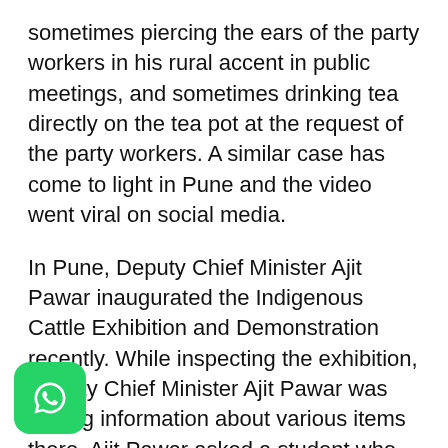sometimes piercing the ears of the party workers in his rural accent in public meetings, and sometimes drinking tea directly on the tea pot at the request of the party workers. A similar case has come to light in Pune and the video went viral on social media.
In Pune, Deputy Chief Minister Ajit Pawar inaugurated the Indigenous Cattle Exhibition and Demonstration recently. While inspecting the exhibition, Deputy Chief Minister Ajit Pawar was getting information about various items there. Ajit Pawar asked a student who gave this information about her exam marks. Ajit Pawar joined hands directly when the student told me that he got more than 99% marks. After this action of Ajit Pawar, there was a good laugh in the audience.
[Figure (logo): WhatsApp green logo icon at bottom left corner]